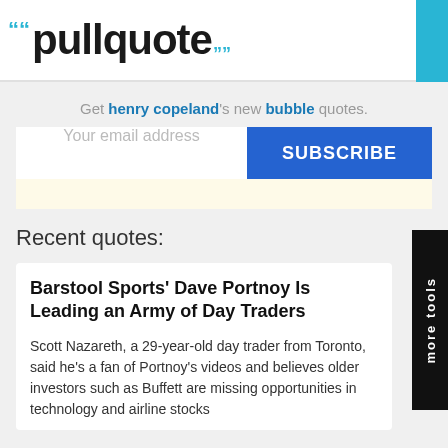pullquote
Get henry copeland's new bubble quotes.
Your email address
SUBSCRIBE
Recent quotes:
Barstool Sports' Dave Portnoy Is Leading an Army of Day Traders
Scott Nazareth, a 29-year-old day trader from Toronto, said he's a fan of Portnoy's videos and believes older investors such as Buffett are missing opportunities in technology and airline stocks